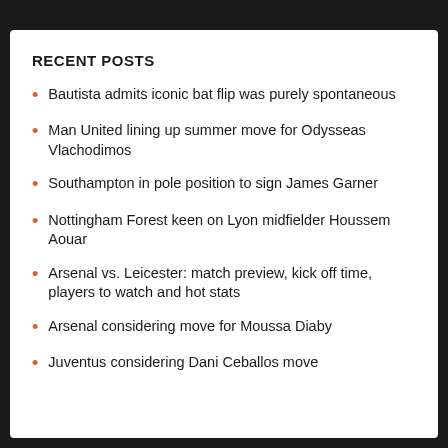RECENT POSTS
Bautista admits iconic bat flip was purely spontaneous
Man United lining up summer move for Odysseas Vlachodimos
Southampton in pole position to sign James Garner
Nottingham Forest keen on Lyon midfielder Houssem Aouar
Arsenal vs. Leicester: match preview, kick off time, players to watch and hot stats
Arsenal considering move for Moussa Diaby
Juventus considering Dani Ceballos move